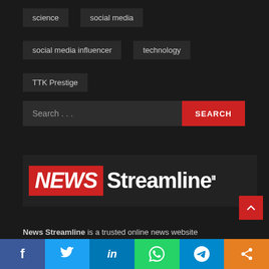science
social media
social media influencer
technology
TTK Prestige
Search . . .
[Figure (logo): NEWS Streamline logo with NEWS in red box and Streamline in white bold text]
News Streamline is a trusted online news website
[Figure (infographic): Social media share bar with Facebook, Twitter, LinkedIn, WhatsApp, Telegram, and share icons]